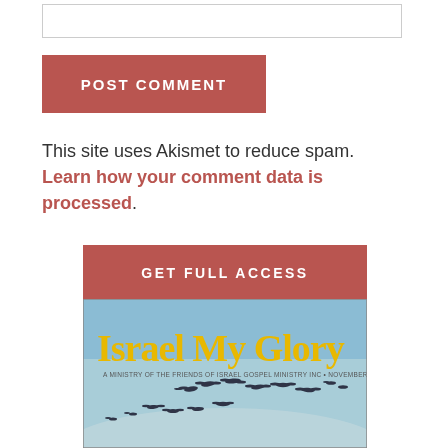[text input box]
POST COMMENT
This site uses Akismet to reduce spam. Learn how your comment data is processed.
GET FULL ACCESS
[Figure (illustration): Israel My Glory magazine cover with birds flying over a sky background]